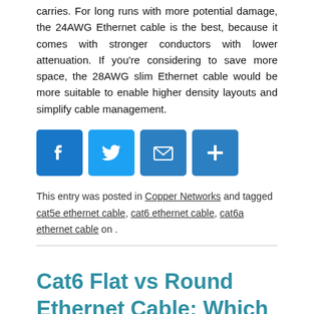carries. For long runs with more potential damage, the 24AWG Ethernet cable is the best, because it comes with stronger conductors with lower attenuation. If you're considering to save more space, the 28AWG slim Ethernet cable would be more suitable to enable higher density layouts and simplify cable management.
[Figure (other): Social sharing icons: Facebook, Twitter, Email, Share (plus sign)]
This entry was posted in Copper Networks and tagged cat5e ethernet cable, cat6 ethernet cable, cat6a ethernet cable on .
Cat6 Flat vs Round Ethernet Cable: Which One to Choose?